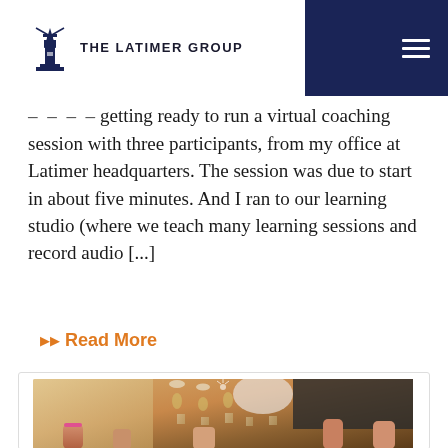THE LATIMER GROUP
...getting ready to run a virtual coaching session with three participants, from my office at Latimer headquarters. The session was due to start in about five minutes. And I ran to our learning studio (where we teach many learning sessions and record audio [...]
Read More
[Figure (photo): People clinking wine glasses in a celebratory toast, hands reaching in from multiple directions, festive setting with flowers visible in background]